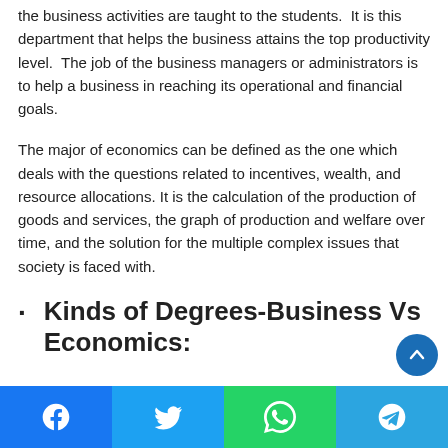the business activities are taught to the students.  It is this department that helps the business attains the top productivity level.  The job of the business managers or administrators is to help a business in reaching its operational and financial goals.
The major of economics can be defined as the one which deals with the questions related to incentives, wealth, and resource allocations. It is the calculation of the production of goods and services, the graph of production and welfare over time, and the solution for the multiple complex issues that society is faced with.
· Kinds of Degrees-Business Vs Economics:
[Figure (other): Social sharing bar at bottom with Facebook, Twitter, WhatsApp, Telegram icons]